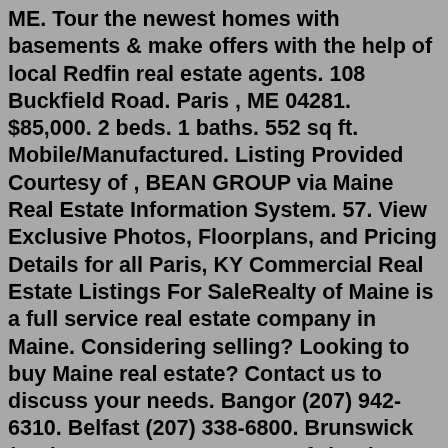ME. Tour the newest homes with basements & make offers with the help of local Redfin real estate agents. 108 Buckfield Road. Paris , ME 04281. $85,000. 2 beds. 1 baths. 552 sq ft. Mobile/Manufactured. Listing Provided Courtesy of , BEAN GROUP via Maine Real Estate Information System. 57. View Exclusive Photos, Floorplans, and Pricing Details for all Paris, KY Commercial Real Estate Listings For SaleRealty of Maine is a full service real estate company in Maine. Considering selling? Looking to buy Maine real estate? Contact us to discuss your needs. Bangor (207) 942-6310. Belfast (207) 338-6800. Brunswick (207) 406-2084. Dover Foxcroft (207) 942-6310. Ellsworth (207) 667-2300. Greenville (207) 695-6073. LincolnFrom Hawaii to Maine, these real estate listings come with plenty of land and opportunities. View Gallery 50 Photos Open Gate Photography. 1 of 50. Maplesville, Alabama 4,070 square feet; 4 beds, 3 baths Agent: Diane ... Florida Georgia Line's Brian Kelley House for Sale.Search South Paris commercial real estate for sale or lease on CENTURY 21. Find...